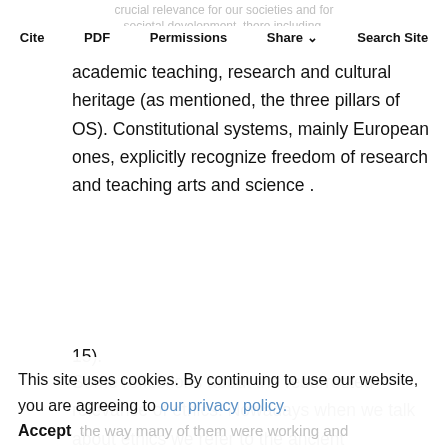crucial relevance for our societies and for societal development, there including,
Cite | PDF | Permissions | Share | Search Site
academic teaching, research and cultural heritage (as mentioned, the three pillars of OS). Constitutional systems, mainly European ones, explicitly recognize freedom of research and teaching arts and science .
15).
Some reflections about the resurrected relevance of ethics. Nowadays when we talk about ethics we refer to the ancient
This site uses cookies. By continuing to use our website, you are agreeing to our privacy policy. Accept
the way many of them were working and